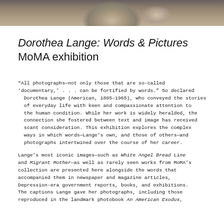[Figure (photo): Grayscale photograph cropped at top showing a person, partial portrait, black and white]
Dorothea Lange: Words & Pictures MoMA exhibition
"All photographs—not only those that are so-called 'documentary,' . . . can be fortified by words." So declared Dorothea Lange (American, 1895–1965), who conveyed the stories of everyday life with keen and compassionate attention to the human condition. While her work is widely heralded, the connection she fostered between text and image has received scant consideration. This exhibition explores the complex ways in which words—Lange's own, and those of others—and photographs intertwined over the course of her career.
Lange's most iconic images—such as White Angel Bread Line and Migrant Mother—as well as rarely seen works from MoMA's collection are presented here alongside the words that accompanied them in newspaper and magazine articles, Depression-era government reports, books, and exhibitions. The captions Lange gave her photographs, including those reproduced in the landmark photobook An American Exodus,